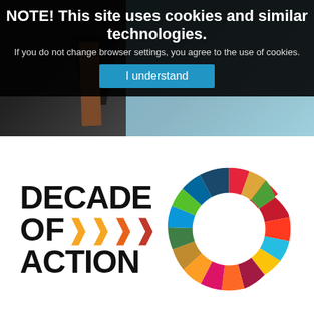NOTE! This site uses cookies and similar technologies.
If you do not change browser settings, you agree to the use of cookies.
I understand
[Figure (logo): Decade of Action logo with colorful SDG wheel ring on the right and bold black text 'DECADE OF >>> ACTION' on the left with colored chevron arrows]
[Figure (photo): Background photo of a man in a dark suit and tie, partially visible, with blue/grey background on the right]